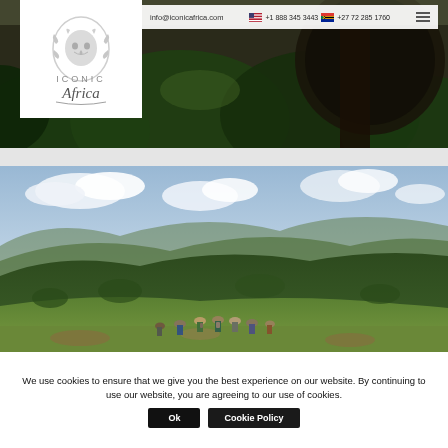info@iconicafrica.com  +1 888 345 3443  +27 72 285 1760
[Figure (photo): Iconic Africa logo — stylized lion head above text reading ICONIC Africa]
[Figure (photo): Dark forest/jungle scene with greenery and a large circular dark object, top banner photo]
[Figure (photo): Group of tourists hiking on a green hillside with mountain and cloudy sky in the background]
We use cookies to ensure that we give you the best experience on our website. By continuing to use our website, you are agreeing to our use of cookies.
Ok   Cookie Policy